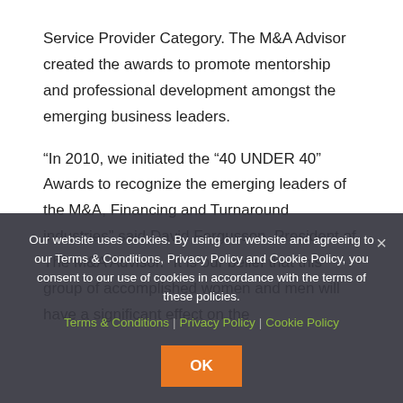Service Provider Category. The M&A Advisor created the awards to promote mentorship and professional development amongst the emerging business leaders.
“In 2010, we initiated the “40 UNDER 40” Awards to recognize the emerging leaders of the M&A, Financing and Turnaround industries” said David Fergusson, President of The M&A Advisor. “It is our belief that this group of accomplished women and men will have a significant effect on the ... for them to meet and engage with one another.
Our website uses cookies. By using our website and agreeing to our Terms & Conditions, Privacy Policy and Cookie Policy, you consent to our use of cookies in accordance with the terms of these policies. Terms & Conditions | Privacy Policy | Cookie Policy